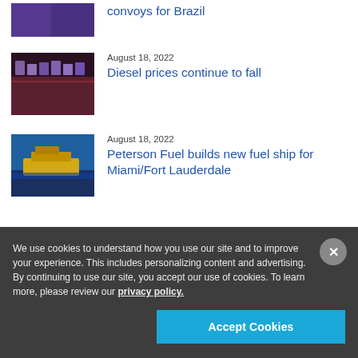[Figure (photo): Partial thumbnail visible at top, purple/dark tones]
convoys for Brazil
[Figure (photo): Trading floor with multiple computer monitors]
August 18, 2022
Diesel prices continue to fall
[Figure (photo): Yellow fuel/transport ship on water]
August 18, 2022
Peterson Fuel builds new fuel ship for Miami/Fort Lauderdale
We use cookies to understand how you use our site and to improve your experience. This includes personalizing content and advertising. By continuing to use our site, you accept our use of cookies. To learn more, please review our privacy policy.